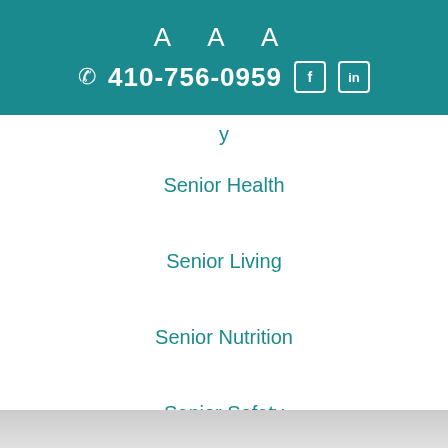A A A  410-756-0959
Senior Health
Senior Living
Senior Nutrition
Senior Safety
Senior Vision
Skin Care
Symptoms of MS
Transitional Care
Transitional Home Health Care